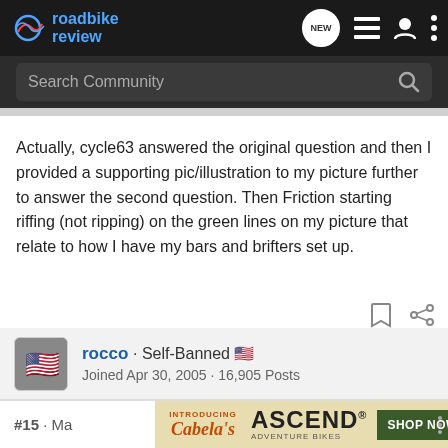[Figure (screenshot): Road Bike Review website header with logo, search bar, and navigation icons]
Actually, cycle63 answered the original question and then I provided a supporting pic/illustration to my picture further to answer the second question. Then Friction starting riffing (not ripping) on the green lines on my picture that relate to how I have my bars and brifters set up.
rocco · Self-Banned 🇺🇸
Joined Apr 30, 2005 · 16,905 Posts
#15 · Ma
[Figure (screenshot): Advertisement for Cabela's ASCEND Adventure Bikes with Shop Now button]